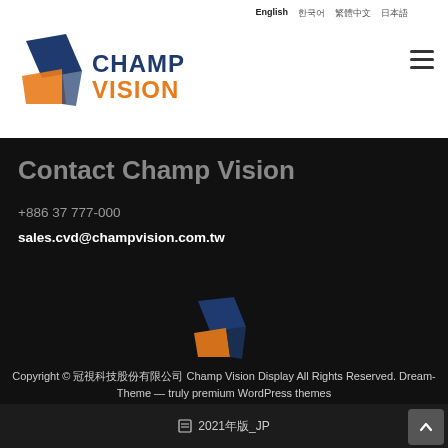English  한국어  繁體中文  日本語
[Figure (logo): ChampVision logo with blue and orange geometric icon and company name in dark blue and orange text]
Contact Champ Vision
+886 37 777-000
sales.cvd@champvision.com.tw
[Figure (logo): ChampVision small footer logo with blue and orange geometric icon]
Copyright © 冠視科技股份有限公司 Champ Vision Display All Rights Reserved. Dream-Theme — truly premium WordPress themes
2021年版_JP